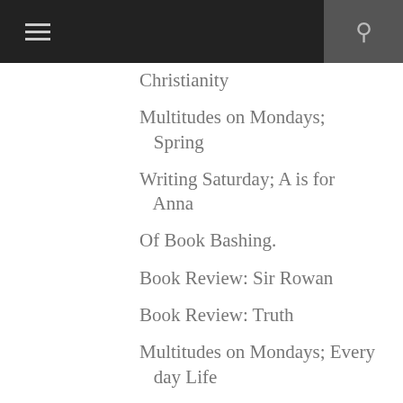Christianity
Multitudes on Mondays; Spring
Writing Saturday; A is for Anna
Of Book Bashing.
Book Review: Sir Rowan
Book Review: Truth
Multitudes on Mondays; Every day Life
Writing Saturday; ABC's
Adventure Between the